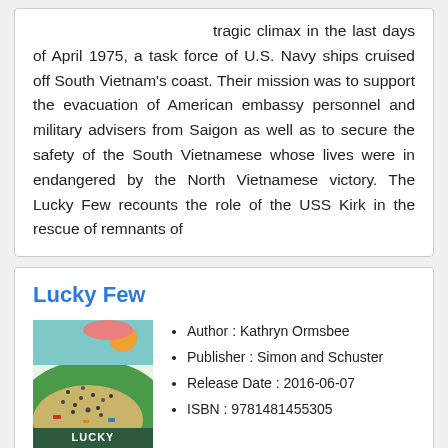tragic climax in the last days of April 1975, a task force of U.S. Navy ships cruised off South Vietnam's coast. Their mission was to support the evacuation of American embassy personnel and military advisers from Saigon as well as to secure the safety of the South Vietnamese whose lives were in endangered by the North Vietnamese victory. The Lucky Few recounts the role of the USS Kirk in the rescue of remnants of
Lucky Few
[Figure (illustration): Book cover of 'Lucky Few' showing an illustrated aerial view of a crowded beach or landscape with colorful figures and objects, green and sandy tones, with the title 'LUCKY FEW' visible at the bottom.]
Author : Kathryn Ormsbee
Publisher : Simon and Schuster
Release Date : 2016-06-07
ISBN : 9781481455305